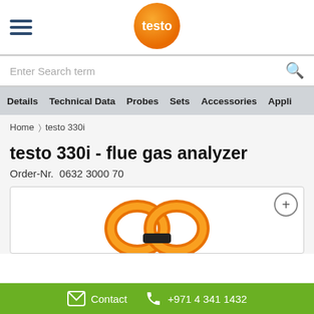[Figure (logo): Testo orange circle logo with white 'testo' text]
Enter Search term
Details  Technical Data  Probes  Sets  Accessories  Appli
Home > testo 330i
testo 330i - flue gas analyzer
Order-Nr.  0632 3000 70
[Figure (photo): Partial view of testo 330i flue gas analyzer device showing orange handles/clamps]
Contact  +971 4 341 1432